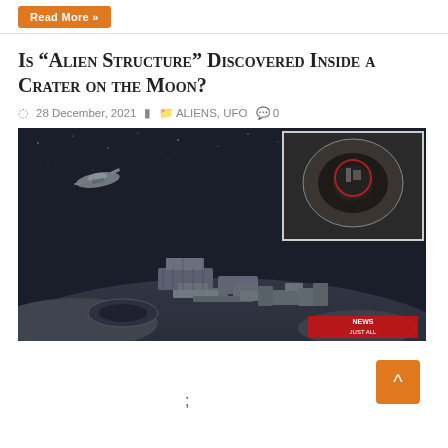Read More »
Is “Alien Structure” Discovered Inside a Crater on the Moon?
28 December, 2021  ALIENS, UFO  0
[Figure (photo): Illustrated artistic rendering of an alien structure on the moon surface with a spacecraft flying above, and an inset image of a crater in the upper right corner. 'NEWS JUST ALL' watermark in lower right.]
;